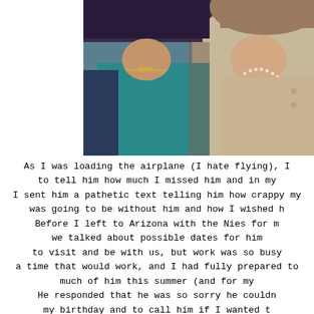[Figure (photo): Two women photographed together from shoulders up. Left person wearing teal/turquoise top with a name necklace and dark hair. Right person wearing beige/cream blazer with pearl necklace and lighter hair.]
As I was loading the airplane (I hate flying), I to tell him how much I missed him and in my I sent him a pathetic text telling him how crappy my was going to be without him and how I wished h Before I left to Arizona with the Nies for m we talked about possible dates for him to visit and be with us, but work was so busy a time that would work, and I had fully prepared to much of him this summer (and for my He responded that he was so sorry he couldn my birthday and to call him if I wanted t